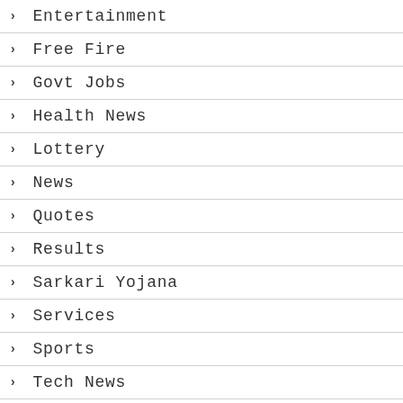Entertainment
Free Fire
Govt Jobs
Health News
Lottery
News
Quotes
Results
Sarkari Yojana
Services
Sports
Tech News
Updates